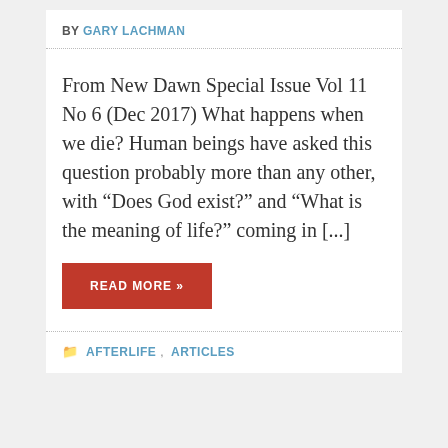BY GARY LACHMAN
From New Dawn Special Issue Vol 11 No 6 (Dec 2017) What happens when we die? Human beings have asked this question probably more than any other, with “Does God exist?” and “What is the meaning of life?” coming in [...]
READ MORE »
AFTERLIFE, ARTICLES